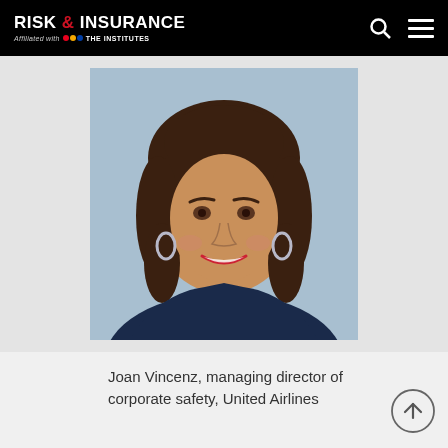RISK & INSURANCE | Affiliated with THE INSTITUTES
[Figure (photo): Professional headshot of Joan Vincenz, a woman with dark brown chin-length hair wearing hoop earrings and a dark navy blazer, smiling, against a light blue background.]
Joan Vincenz, managing director of corporate safety, United Airlines